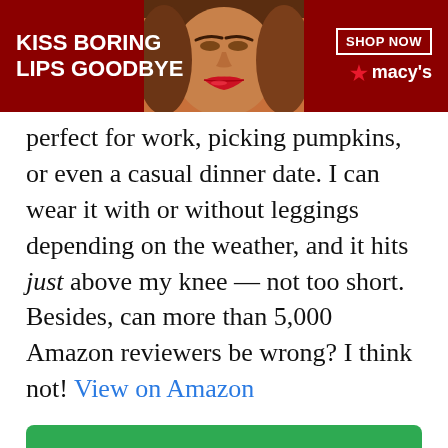[Figure (illustration): Macy's advertisement banner with red background, woman's face with red lips, text 'KISS BORING LIPS GOODBYE', 'SHOP NOW' button, and Macy's star logo]
perfect for work, picking pumpkins, or even a casual dinner date. I can wear it with or without leggings depending on the weather, and it hits just above my knee — not too short. Besides, can more than 5,000 Amazon reviewers be wrong? I think not! View on Amazon
VIEW ON AMAZON
ADVERTISEMENT